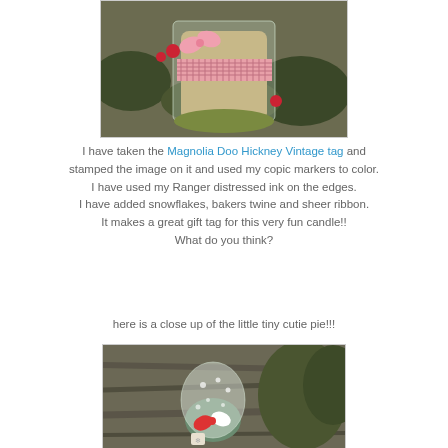[Figure (photo): Gift basket with candle wrapped in clear cellophane, decorated with pink gingham ribbon and red flowers, photographed outdoors]
I have taken the Magnolia Doo Hickney Vintage tag and stamped the image on it and used my copic markers to color. I have used my Ranger distressed ink on the edges. I have added snowflakes, bakers twine and sheer ribbon. It makes a great gift tag for this very fun candle!! What do you think?
here is a close up of the little tiny cutie pie!!!
[Figure (photo): Close up of a small gift wrapped in white polka dot sheer ribbon tied with red and white twine, placed against a bark background]